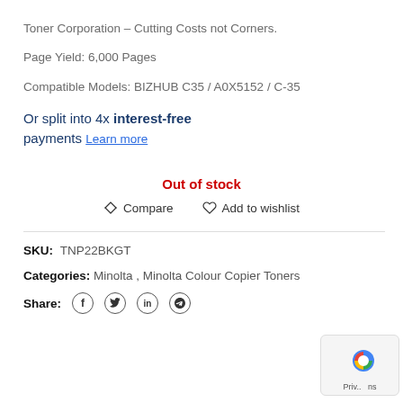Toner Corporation – Cutting Costs not Corners.
Page Yield: 6,000 Pages
Compatible Models: BIZHUB C35 / A0X5152 / C-35
Or split into 4x interest-free payments Learn more
Out of stock
⇄ Compare   ♡ Add to wishlist
SKU: TNP22BKGT
Categories: Minolta, Minolta Colour Copier Toners
Share: f  twitter  in  telegram